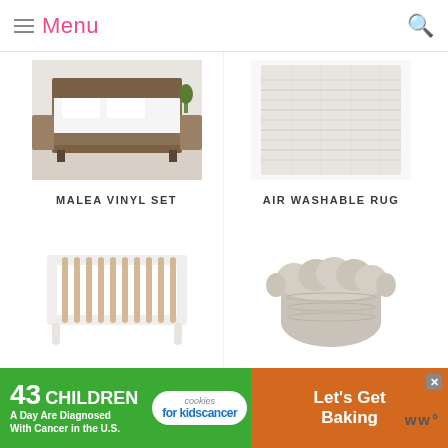Menu
[Figure (photo): Photo of a bed with a wooden frame and white bedding in a bedroom setting — product image for MALEA VINYL SET]
[Figure (photo): Photo of a light-colored woven rug — product image for AIR WASHABLE RUG]
MALEA VINYL SET
AIR WASHABLE RUG
[Figure (photo): Photo of a white and natural wood convertible crib — product image for LOLLY 3-IN-1 CONVERTIBLE CRIB WITH TODDLER BED CONVERSION KIT]
[Figure (photo): Photo of a round natural ivory woven basket with scallop-shaped flaps — product image for PETAL BASKET - NATURAL IVORY]
LOLLY 3-IN-1 CONVERTIBLE CRIB WITH TODDLER BED CONVERSION KIT
PETAL BASKET - NATURAL IVORY
[Figure (infographic): Advertisement banner: '43 CHILDREN A Day Are Diagnosed With Cancer in the U.S.' with cookies for kids cancer logo and 'Let's Get Baking' text on brown background]